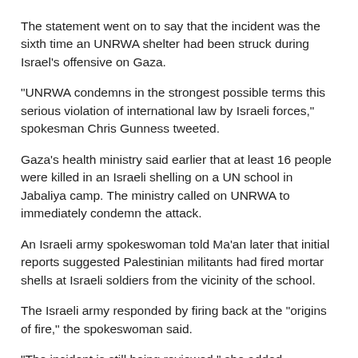The statement went on to say that the incident was the sixth time an UNRWA shelter had been struck during Israel's offensive on Gaza.
"UNRWA condemns in the strongest possible terms this serious violation of international law by Israeli forces," spokesman Chris Gunness tweeted.
Gaza's health ministry said earlier that at least 16 people were killed in an Israeli shelling on a UN school in Jabaliya camp. The ministry called on UNRWA to immediately condemn the attack.
An Israeli army spokeswoman told Ma'an later that initial reports suggested Palestinian militants had fired mortar shells at Israeli soldiers from the vicinity of the school.
The Israeli army responded by firing back at the "origins of fire," the spokeswoman said.
"The incident is still being reviewed," she added.